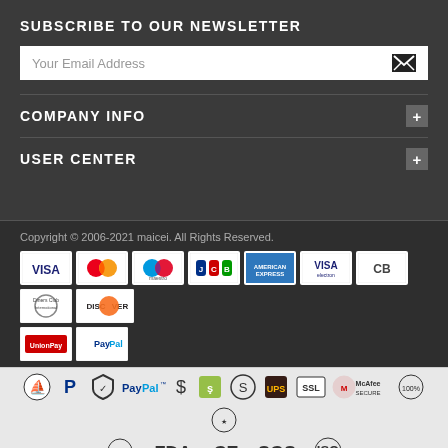SUBSCRIBE TO OUR NEWSLETTER
Your Email Address
COMPANY INFO
USER CENTER
Copyright © 2006-2021 maicei. All Rights Reserved.
[Figure (logo): Payment card logos: VISA, Mastercard, Maestro, JCB, American Express, VISA electron, CB, Diners Club International, Discover, UnionPay, PayPal]
[Figure (logo): Trust/security badge icons row 1: shipping, PayPal, shield, PayPal text, dollar, Shopify, S badge, UPS, SSL, McAfee Secure, and two more badges. Row 2: certification badges including FDA, CE, SGS, ISO]